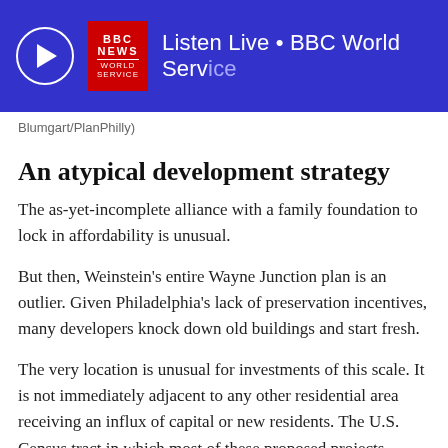[Figure (other): BBC World Service listen live banner with play button circle, BBC News World Service red logo box, and text 'Listen Live • BBC World Service' on blue background]
Blumgart/PlanPhilly)
An atypical development strategy
The as-yet-incomplete alliance with a family foundation to lock in affordability is unusual.
But then, Weinstein's entire Wayne Junction plan is an outlier. Given Philadelphia's lack of preservation incentives, many developers knock down old buildings and start fresh.
The very location is unusual for investments of this scale. It is not immediately adjacent to any other residential area receiving an influx of capital or new residents. The U.S. Census tract in which most of these proposed projects